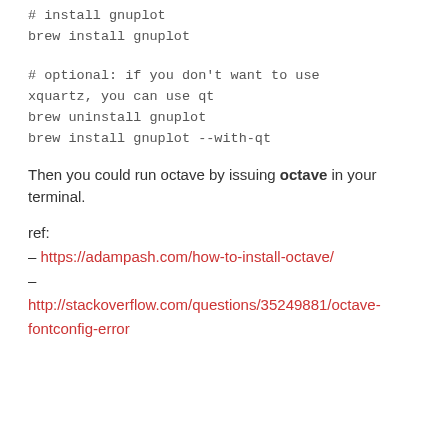# install gnuplot
brew install gnuplot
# optional: if you don't want to use xquartz, you can use qt
brew uninstall gnuplot
brew install gnuplot --with-qt
Then you could run octave by issuing octave in your terminal.
ref:
– https://adampash.com/how-to-install-octave/
–
http://stackoverflow.com/questions/35249881/octave-fontconfig-error